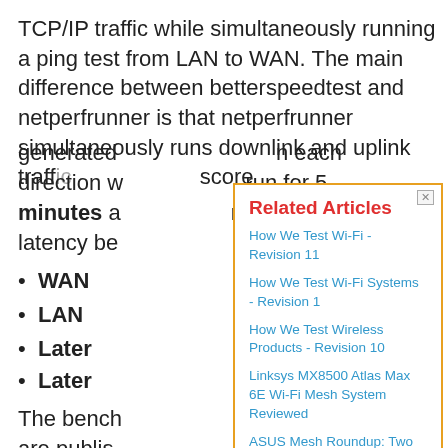TCP/IP traffic while simultaneously running a ping test from LAN to WAN. The main difference between betterspeedtest and netperfrunner is that netperfrunner simultaneously runs downlink and uplink traffic score generated in each direction run for 5 minutes and two latency be
WAN
LAN
Latency
Latency
The benchmark are published
Latency S
Measured betterspee...
[Figure (screenshot): Cookie consent dialog overlay with yellow background and orange border containing cookie policy text]
[Figure (screenshot): Related Articles popup with white background and orange border, showing links: How We Test Wi-Fi - Revision 11, How We Test Wi-Fi Systems - Revision 1, How We Test Wireless Products - Revision 10, Linksys MX8500 Atlas Max 6E Wi-Fi Mesh System Reviewed, ASUS Mesh Roundup: Two Zens and a TriBand]